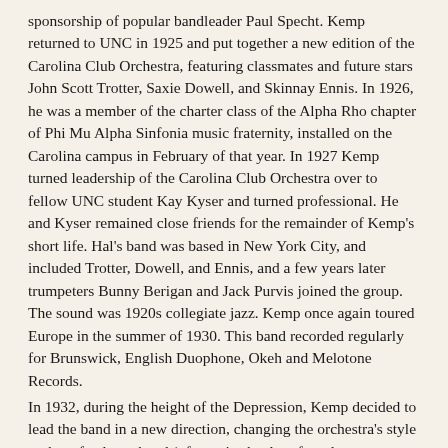sponsorship of popular bandleader Paul Specht. Kemp returned to UNC in 1925 and put together a new edition of the Carolina Club Orchestra, featuring classmates and future stars John Scott Trotter, Saxie Dowell, and Skinnay Ennis. In 1926, he was a member of the charter class of the Alpha Rho chapter of Phi Mu Alpha Sinfonia music fraternity, installed on the Carolina campus in February of that year. In 1927 Kemp turned leadership of the Carolina Club Orchestra over to fellow UNC student Kay Kyser and turned professional. He and Kyser remained close friends for the remainder of Kemp's short life. Hal's band was based in New York City, and included Trotter, Dowell, and Ennis, and a few years later trumpeters Bunny Berigan and Jack Purvis joined the group. The sound was 1920s collegiate jazz. Kemp once again toured Europe in the summer of 1930. This band recorded regularly for Brunswick, English Duophone, Okeh and Melotone Records.
In 1932, during the height of the Depression, Kemp decided to lead the band in a new direction, changing the orchestra's style to that of a dance band (often mistakenly referred to as "sweet"), using muted triple-tonguing trumpets, clarinets playing low sustained notes in unison through large megaphones (an early version of the echo chamber effect), and a double-octave piano.